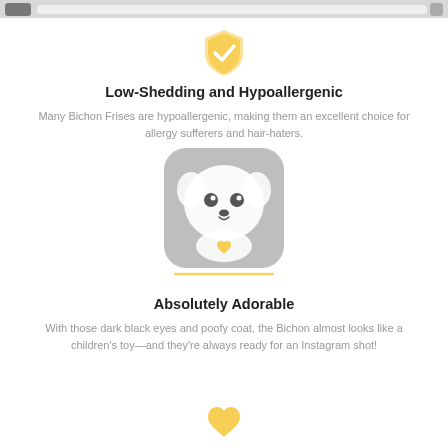[Figure (illustration): Orange/golden shield icon with a white checkmark in the center]
Low-Shedding and Hypoallergenic
Many Bichon Frises are hypoallergenic, making them an excellent choice for allergy sufferers and hair-haters.
[Figure (illustration): Rounded square gray app icon showing a fluffy white Bichon Frise dog face illustration with a golden/orange highlight, and a horizontal golden line underneath]
Absolutely Adorable
With those dark black eyes and poofy coat, the Bichon almost looks like a children's toy—and they're always ready for an Instagram shot!
[Figure (illustration): Orange/golden heart icon at the bottom of the page]